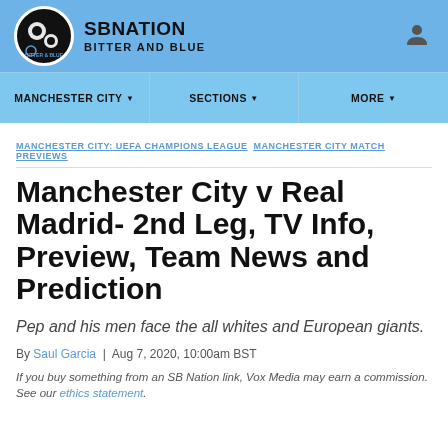SB NATION BITTER AND BLUE
MANCHESTER CITY ▾   SECTIONS ▾   MORE ▾
MANCHESTER CITY: UEFA CHAMPIONS LEAGUE  MANCHESTER CITY MATCH PREVIEWS
Manchester City v Real Madrid- 2nd Leg, TV Info, Preview, Team News and Prediction
Pep and his men face the all whites and European giants.
By Saul Garcia | Aug 7, 2020, 10:00am BST
If you buy something from an SB Nation link, Vox Media may earn a commission. See our ethics statement.